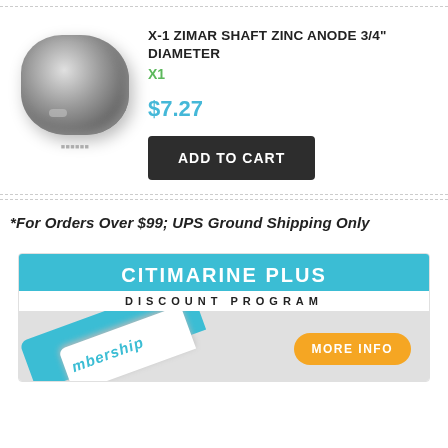[Figure (photo): Zinc anode product image - metallic grey rounded irregular shape]
X-1 ZIMAR SHAFT ZINC ANODE 3/4" DIAMETER
X1
$7.27
ADD TO CART
*For Orders Over $99; UPS Ground Shipping Only
[Figure (infographic): Citimarine Plus Discount Program banner with MORE INFO button and membership key imagery]